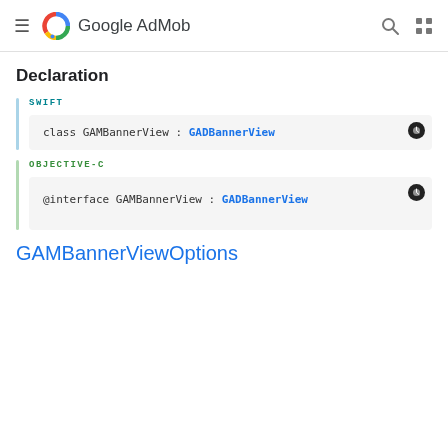Google AdMob
Declaration
SWIFT
class GAMBannerView : GADBannerView
OBJECTIVE-C
@interface GAMBannerView : GADBannerView
GAMBannerViewOptions